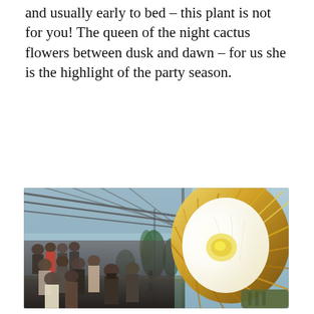and usually early to bed – this plant is not for you! The queen of the night cactus flowers between dusk and dawn – for us she is the highlight of the party season.
[Figure (photo): A greenhouse interior showing a large white queen of the night cactus flower in bloom on the right side, with golden-orange stamens radiating outward. On the left, a crowd of visitors look up at the flower from within the greenhouse, surrounded by tropical plants and a glass roof structure overhead.]